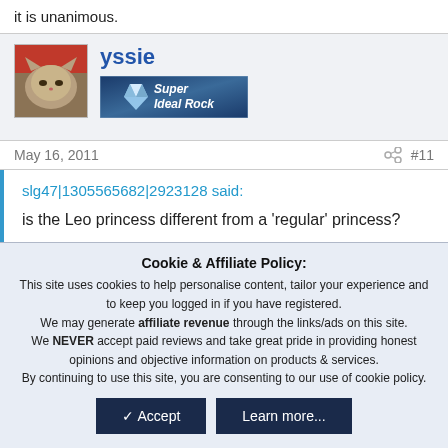it is unanimous.
yssie
[Figure (illustration): Super Ideal Rock badge/banner with diamond icon]
May 16, 2011   #11
slg47|1305565682|2923128 said:

is the Leo princess different from a 'regular' princess?
Cookie & Affiliate Policy:
This site uses cookies to help personalise content, tailor your experience and to keep you logged in if you have registered.
We may generate affiliate revenue through the links/ads on this site.
We NEVER accept paid reviews and take great pride in providing honest opinions and objective information on products & services.
By continuing to use this site, you are consenting to our use of cookie policy.